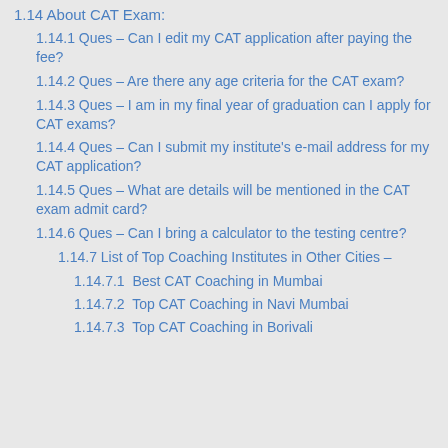1.14 About CAT Exam:
1.14.1 Ques – Can I edit my CAT application after paying the fee?
1.14.2 Ques – Are there any age criteria for the CAT exam?
1.14.3 Ques – I am in my final year of graduation can I apply for CAT exams?
1.14.4 Ques – Can I submit my institute's e-mail address for my CAT application?
1.14.5 Ques – What are details will be mentioned in the CAT exam admit card?
1.14.6 Ques – Can I bring a calculator to the testing centre?
1.14.7 List of Top Coaching Institutes in Other Cities –
1.14.7.1  Best CAT Coaching in Mumbai
1.14.7.2  Top CAT Coaching in Navi Mumbai
1.14.7.3  Top CAT Coaching in Borivali